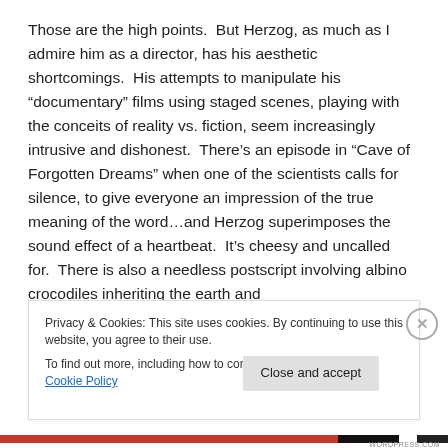Those are the high points.  But Herzog, as much as I admire him as a director, has his aesthetic shortcomings.  His attempts to manipulate his “documentary” films using staged scenes, playing with the conceits of reality vs. fiction, seem increasingly intrusive and dishonest.  There’s an episode in “Cave of Forgotten Dreams” when one of the scientists calls for silence, to give everyone an impression of the true meaning of the word…and Herzog superimposes the sound effect of a heartbeat.  It’s cheesy and uncalled for.  There is also a needless postscript involving albino crocodiles inheriting the earth and
Privacy & Cookies: This site uses cookies. By continuing to use this website, you agree to their use.
To find out more, including how to control cookies, see here: Cookie Policy
Close and accept